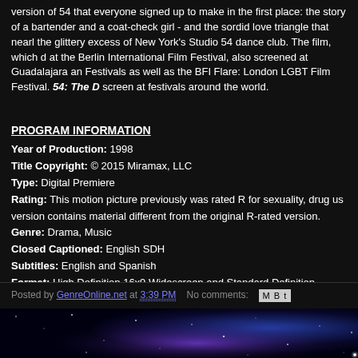version of 54 that everyone signed up to make in the first place: the story of a bartender and a coat-check girl - and the sordid love triangle that nearly destroyed the glittery excess of New York's Studio 54 dance club. The film, which debuted at the Berlin International Film Festival, also screened at Guadalajara and other Festivals as well as the BFI Flare: London LGBT Film Festival. 54: The Director's Cut will continue to screen at festivals around the world.
PROGRAM INFORMATION
Year of Production: 1998
Title Copyright: © 2015 Miramax, LLC
Type: Digital Premiere
Rating: This motion picture previously was rated R for sexuality, drug us... version contains material different from the original R-rated version.
Genre: Drama, Music
Closed Captioned: English SDH
Subtitles: English and Spanish
Format: High Definition 16x9 Widescreen and Standard Definition
Feature Run Time: 106 minutes
Audio Status: 5.1 DTS-HD Master Audio
Posted by GenreOnline.net at 3:39 PM   No comments:
[Figure (illustration): Nebula/galaxy space background in purple and blue at the bottom of the page]